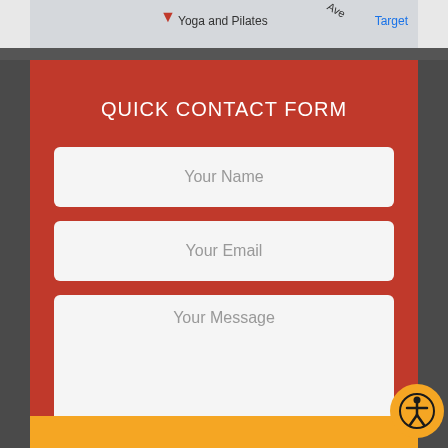[Figure (screenshot): Google Maps partial screenshot showing Yoga and Pilates location, street Ave, and Target store]
QUICK CONTACT FORM
Your Name
Your Email
Your Message